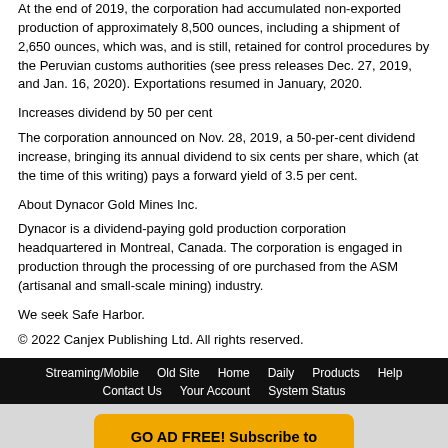At the end of 2019, the corporation had accumulated non-exported production of approximately 8,500 ounces, including a shipment of 2,650 ounces, which was, and is still, retained for control procedures by the Peruvian customs authorities (see press releases Dec. 27, 2019, and Jan. 16, 2020). Exportations resumed in January, 2020.
Increases dividend by 50 per cent
The corporation announced on Nov. 28, 2019, a 50-per-cent dividend increase, bringing its annual dividend to six cents per share, which (at the time of this writing) pays a forward yield of 3.5 per cent.
About Dynacor Gold Mines Inc.
Dynacor is a dividend-paying gold production corporation headquartered in Montreal, Canada. The corporation is engaged in production through the processing of ore purchased from the ASM (artisanal and small-scale mining) industry.
We seek Safe Harbor.
© 2022 Canjex Publishing Ltd. All rights reserved.
Streaming/Mobile  Old Site  Home  Daily  Products  Help  Contact Us  Your Account  System Status
[Figure (other): Advertisement button: GO AD FREE! Subscribe to Stockwatch *** Free 30-Day Trial ***]